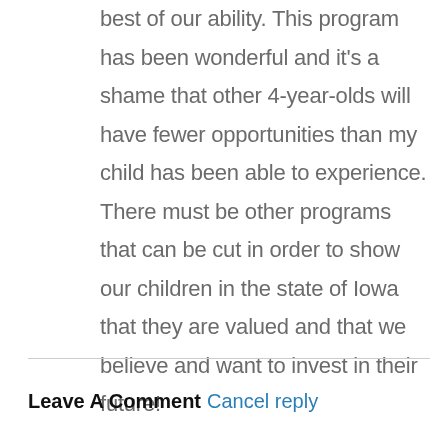best of our ability. This program has been wonderful and it's a shame that other 4-year-olds will have fewer opportunities than my child has been able to experience. There must be other programs that can be cut in order to show our children in the state of Iowa that they are valued and that we believe and want to invest in their future!
Leave A Comment  Cancel reply